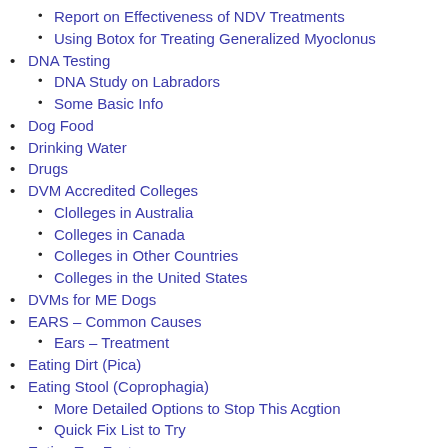Report on Effectiveness of NDV Treatments
Using Botox for Treating Generalized Myoclonus
DNA Testing
DNA Study on Labradors
Some Basic Info
Dog Food
Drinking Water
Drugs
DVM Accredited Colleges
Clolleges in Australia
Colleges in Canada
Colleges in Other Countries
Colleges in the United States
DVMs for ME Dogs
EARS – Common Causes
Ears – Treatment
Eating Dirt (Pica)
Eating Stool (Coprophagia)
More Detailed Options to Stop This Acgtion
Quick Fix List to Try
Eating Too Fast
Tricks to Slow Eating Habits in an ME Dog